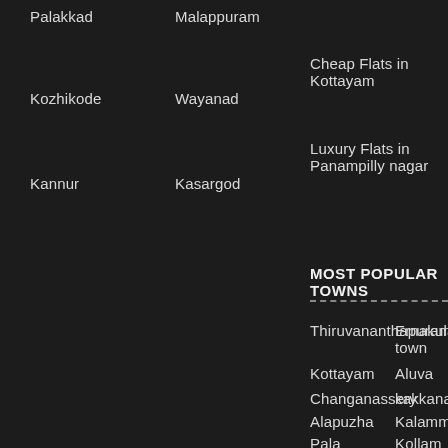Palakkad
Malappuram
Cheap Flats in Kottayam
Kozhikode
Wayanad
Luxury Flats in Panampilly nagar
Kannur
Kasargod
MOST POPULAR TOWNS
Thiruvananthapuram
Ernakulam town
Kottayam
Aluva
Changanassery
kakkanad
Alapuzha
Kalammassery
Pala
Kollam
Thiruvalla
Thripunithura